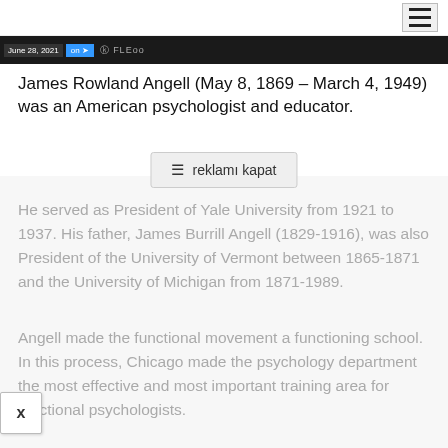[Figure (screenshot): Top navigation bar with hamburger menu icon on the right]
[Figure (screenshot): Dark banner strip with date 'June 28, 2021', blue 'on' button with arrow icon, and text resembling 'FLEoo']
James Rowland Angell (May 8, 1869 – March 4, 1949) was an American psychologist and educator.
≡ reklamı kapat
He served as President of Yale University from 1921 to 1937. His father, James Burrill Angell (1829-1916), was also President of the University of Vermont between 1865-1871 and the University of Michigan from 1871-1989.
Angell made the functional movement a functioning school. In this process, Chicago made the psychology department the most effective and most important training area for functional psychologists.
[Figure (screenshot): X close button in bottom left corner]